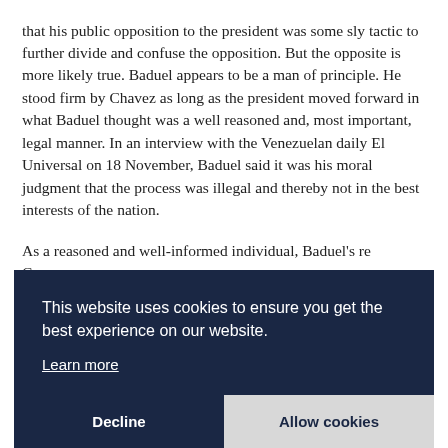that his public opposition to the president was some sly tactic to further divide and confuse the opposition. But the opposite is more likely true. Baduel appears to be a man of principle. He stood firm by Chavez as long as the president moved forward in what Baduel thought was a well reasoned and, most important, legal manner. In an interview with the Venezuelan daily El Universal on 18 November, Baduel said it was his moral judgment that the process was illegal and thereby not in the best interests of the nation.
As a reasoned and well-informed individual, Baduel's re… C… o… ca… o… (i…
This website uses cookies to ensure you get the best experience on our website.
Learn more
Decline
Allow cookies